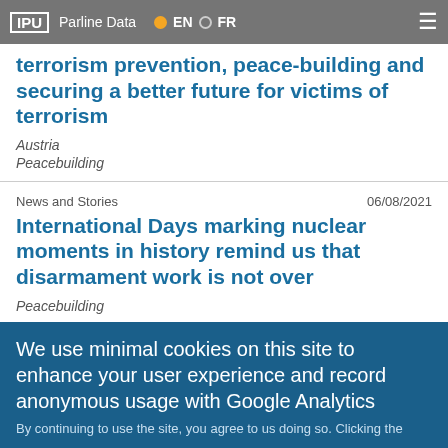IPU | Parline Data | EN | FR
terrorism prevention, peace-building and securing a better future for victims of terrorism
Austria
Peacebuilding
News and Stories    06/08/2021
International Days marking nuclear moments in history remind us that disarmament work is not over
Peacebuilding
We use minimal cookies on this site to enhance your user experience and record anonymous usage with Google Analytics
By continuing to use the site, you agree to us doing so. Clicking the